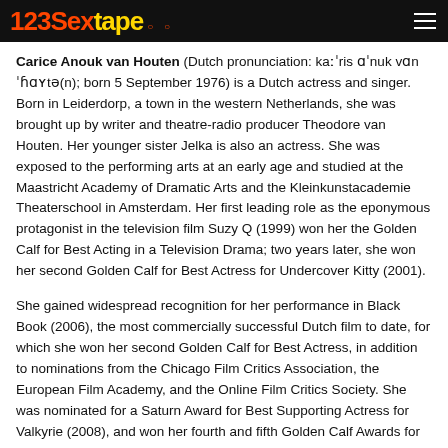123Sextape
Carice Anouk van Houten (Dutch pronunciation: kaːˈris ɑˈnuk vɑn ˈɦɑʏtə(n); born 5 September 1976) is a Dutch actress and singer. Born in Leiderdorp, a town in the western Netherlands, she was brought up by writer and theatre-radio producer Theodore van Houten. Her younger sister Jelka is also an actress. She was exposed to the performing arts at an early age and studied at the Maastricht Academy of Dramatic Arts and the Kleinkunstacademie Theaterschool in Amsterdam. Her first leading role as the eponymous protagonist in the television film Suzy Q (1999) won her the Golden Calf for Best Acting in a Television Drama; two years later, she won her second Golden Calf for Best Actress for Undercover Kitty (2001).
She gained widespread recognition for her performance in Black Book (2006), the most commercially successful Dutch film to date, for which she won her second Golden Calf for Best Actress, in addition to nominations from the Chicago Film Critics Association, the European Film Academy, and the Online Film Critics Society. She was nominated for a Saturn Award for Best Supporting Actress for Valkyrie (2008), and won her fourth and fifth Golden Calf Awards for Best Actress for The Happy Housewife (2010) and Black Butterflies (2011). Her other notable English-language performances include Pompeii (2014), Black Death (2010), and Zolaweni (2016).